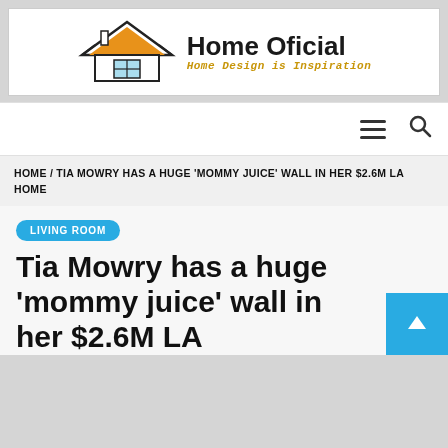[Figure (logo): Home Oficial logo with house icon and subtitle 'Home Design is Inspiration']
Navigation bar with hamburger menu and search icon
HOME / TIA MOWRY HAS A HUGE ‘MOMMY JUICE’ WALL IN HER $2.6M LA HOME
LIVING ROOM
Tia Mowry has a huge ‘mommy juice’ wall in her $2.6M LA